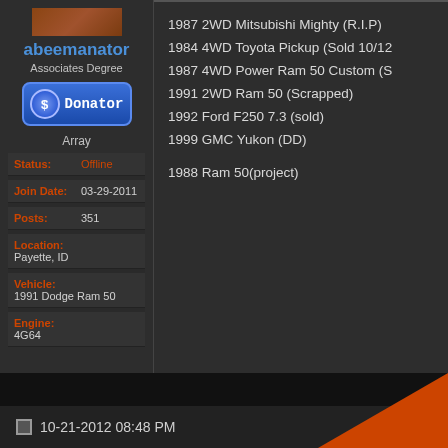abeemanator
Associates Degree
[Figure (other): Donator badge button with dollar sign icon]
Array
| Status: | Offline |
| Join Date: | 03-29-2011 |
| Posts: | 351 |
| Location: | Payette, ID |
| Vehicle: | 1991 Dodge Ram 50 |
| Engine: | 4G64 |
1987 2WD Mitsubishi Mighty (R.I.P)
1984 4WD Toyota Pickup (Sold 10/12
1987 4WD Power Ram 50 Custom (S
1991 2WD Ram 50 (Scrapped)
1992 Ford F250 7.3 (sold)
1999 GMC Yukon (DD)
1988 Ram 50(project)
10-21-2012 08:48 PM